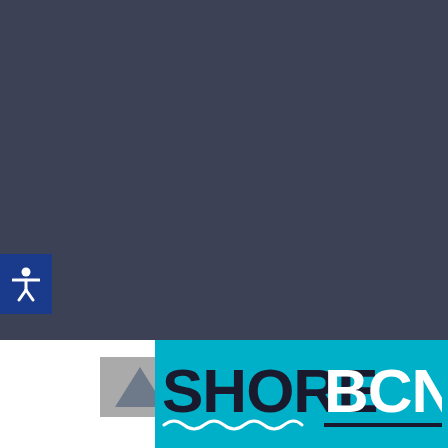Motivational Quotes
Small Business News
Cartoon Gallery
Small Business Spotlight
Contact
About
Advertise
Company
Contact Us
Media Kit
Support
Editorial Calendar
Privacy Policy
Resource Center
Terms
Site Map
Newsletter
Our Other Site
[Figure (logo): SHORE BCN logo on teal/cyan background with wave underline graphic]